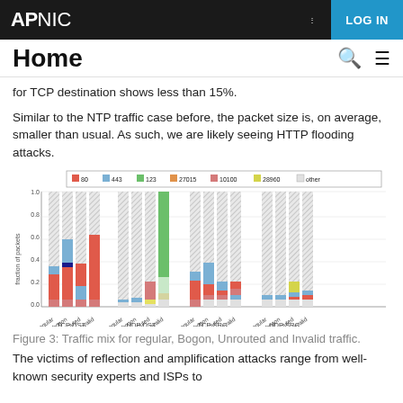APNIC | LOG IN
Home
for TCP destination shows less than 15%.
Similar to the NTP traffic case before, the packet size is, on average, smaller than usual. As such, we are likely seeing HTTP flooding attacks.
[Figure (stacked-bar-chart): Traffic mix for regular, Bogon, Unrouted and Invalid traffic]
Figure 3: Traffic mix for regular, Bogon, Unrouted and Invalid traffic.
The victims of reflection and amplification attacks range from well-known security experts and ISPs to